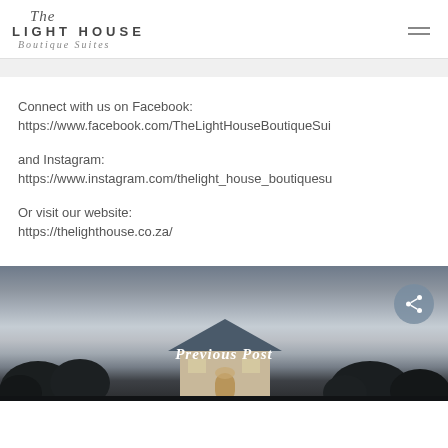The Light House Boutique Suites
Connect with us on Facebook:
https://www.facebook.com/TheLightHouseBoutiqueSui
and Instagram:
https://www.instagram.com/thelight_house_boutiquesu
Or visit our website:
https://thelighthouse.co.za/
[Figure (photo): Exterior dusk photo of The Light House Boutique Suites building with trees in foreground and twilight sky, with Previous Post label overlay]